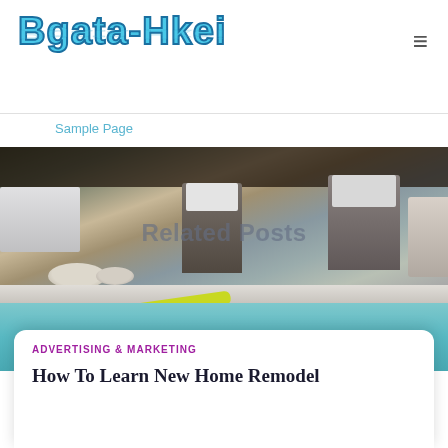Bgata-Hkei
Sample Page
[Figure (photo): Outdoor pool patio with wicker chairs, stone bowls, white sofa, and a yellow float near the pool edge. Overlay text reads 'Related Posts'.]
ADVERTISING & MARKETING
How To Learn New Home Remodel